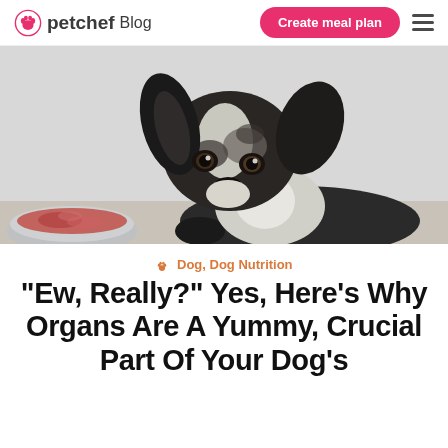petchef Blog | Create meal plan
[Figure (photo): A black and white merle dog (Border Collie type) looking up at the camera with a bowl of raw meat visible in the lower left foreground. Light grey background.]
🐾 Dog, Dog Nutrition
"Ew, Really?" Yes, Here's Why Organs Are A Yummy, Crucial Part Of Your Dog's